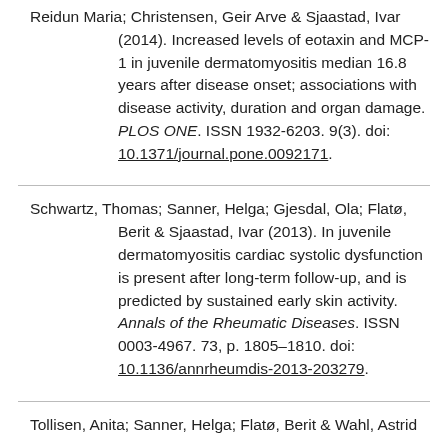Reidun Maria; Christensen, Geir Arve & Sjaastad, Ivar (2014). Increased levels of eotaxin and MCP-1 in juvenile dermatomyositis median 16.8 years after disease onset; associations with disease activity, duration and organ damage. PLOS ONE. ISSN 1932-6203. 9(3). doi: 10.1371/journal.pone.0092171.
Schwartz, Thomas; Sanner, Helga; Gjesdal, Ola; Flatø, Berit & Sjaastad, Ivar (2013). In juvenile dermatomyositis cardiac systolic dysfunction is present after long-term follow-up, and is predicted by sustained early skin activity. Annals of the Rheumatic Diseases. ISSN 0003-4967. 73, p. 1805–1810. doi: 10.1136/annrheumdis-2013-203279.
Tollisen, Anita; Sanner, Helga; Flatø, Berit & Wahl, Astrid